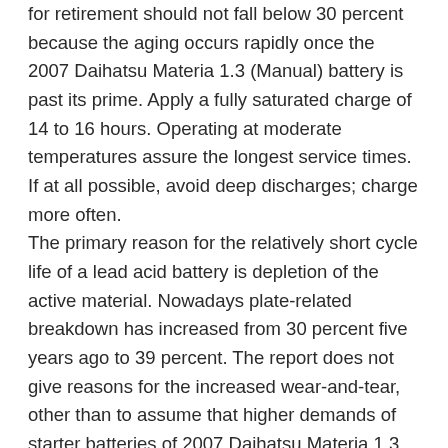for retirement should not fall below 30 percent because the aging occurs rapidly once the 2007 Daihatsu Materia 1.3 (Manual) battery is past its prime. Apply a fully saturated charge of 14 to 16 hours. Operating at moderate temperatures assure the longest service times. If at all possible, avoid deep discharges; charge more often.
The primary reason for the relatively short cycle life of a lead acid battery is depletion of the active material. Nowadays plate-related breakdown has increased from 30 percent five years ago to 39 percent. The report does not give reasons for the increased wear-and-tear, other than to assume that higher demands of starter batteries of 2007 Daihatsu Materia 1.3 (Manual) in modern cars induce added stress.
While the depletion of the active material is well understood and can be calculated, a lead acid battery suffers from other infirmities long before grid-deterioration sound the death knell.
The following articles address the most common problems that develop with use and time and what battery users can do to minimize the effects.